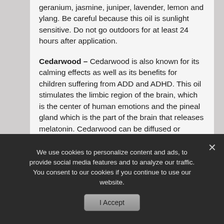geranium, jasmine, juniper, lavender, lemon and ylang. Be careful because this oil is sunlight sensitive. Do not go outdoors for at least 24 hours after application.
Cedarwood – Cedarwood is also known for its calming effects as well as its benefits for children suffering from ADD and ADHD. This oil stimulates the limbic region of the brain, which is the center of human emotions and the pineal gland which is the part of the brain that releases melatonin. Cedarwood can be diffused or applied topically and the best area to apply it is at the base of the head. Oils that blend well with cedarwood are the following: Bergamot, clary sage, cypress,
We use cookies to personalize content and ads, to provide social media features and to analyze our traffic. You consent to our cookies if you continue to use our website.